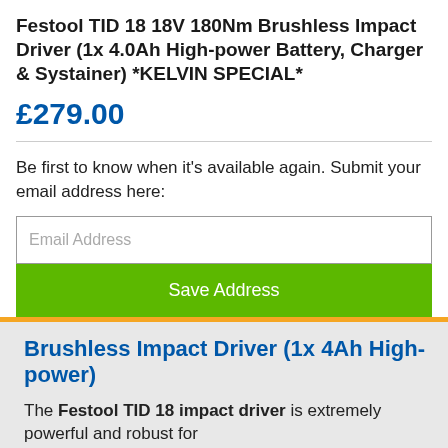Festool TID 18 18V 180Nm Brushless Impact Driver (1x 4.0Ah High-power Battery, Charger & Systainer) *KELVIN SPECIAL*
£279.00
Be first to know when it's available again. Submit your email address here:
Email Address
Save Address
Brushless Impact Driver (1x 4Ah High-power)
The Festool TID 18 impact driver is extremely powerful and robust for